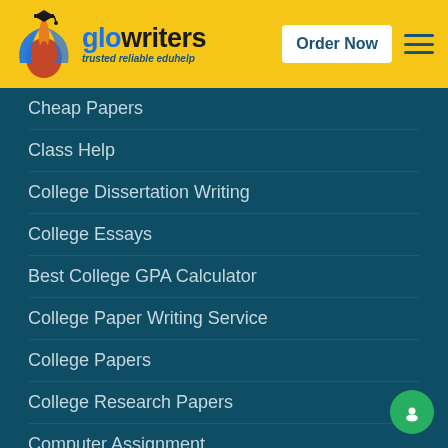[Figure (logo): GloWriters logo with flame/graduation cap graphic, blue and red colors, tagline: trusted reliable eduhelp]
Cheap Papers
Class Help
College Dissertation Writing
College Essays
Best College GPA Calculator
College Paper Writing Service
College Papers
College Research Papers
Computer Assignment
Coursework Help Online
Coursework Service